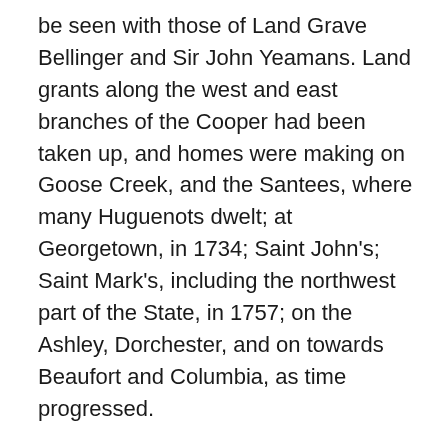be seen with those of Land Grave Bellinger and Sir John Yeamans. Land grants along the west and east branches of the Cooper had been taken up, and homes were making on Goose Creek, and the Santees, where many Huguenots dwelt; at Georgetown, in 1734; Saint John's; Saint Mark's, including the northwest part of the State, in 1757; on the Ashley, Dorchester, and on towards Beaufort and Columbia, as time progressed.
The French Huguenots in South Carolina, many of them, early in the century had long since put behind them thoughts of the penury brought with them, and were reaping the reward of their thrift along with other prosperous planters. Fine, brick houses were being built around Charles Town, from 1710 until 1760, when brick and stone gave way to houses of wood on basements of brick, but with few, however, of brick in the upland county,